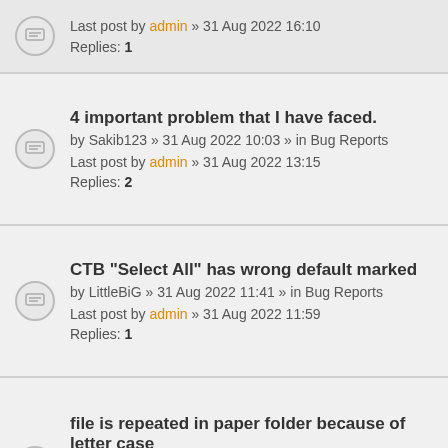Last post by admin » 31 Aug 2022 16:10
Replies: 1
4 important problem that I have faced.
by Sakib123 » 31 Aug 2022 10:03 » in Bug Reports
Last post by admin » 31 Aug 2022 13:15
Replies: 2
CTB "Select All" has wrong default marked
by LittleBiG » 31 Aug 2022 11:41 » in Bug Reports
Last post by admin » 31 Aug 2022 11:59
Replies: 1
file is repeated in paper folder because of letter case
by yusef88 » 30 Aug 2022 07:09 » in Bug Reports
Last post by admin » 31 Aug 2022 11:56
Replies: 10
Readfile()/Writefile() start/end parameters.
by eil » 14 May 2022 15:50 » in Wishes
Last post by eil » 31 Aug 2022 11:03
Replies: 5
Hover Box / Info Tip on LMB
by Evolve » 23 Aug 2022 11:23 » in Wishes